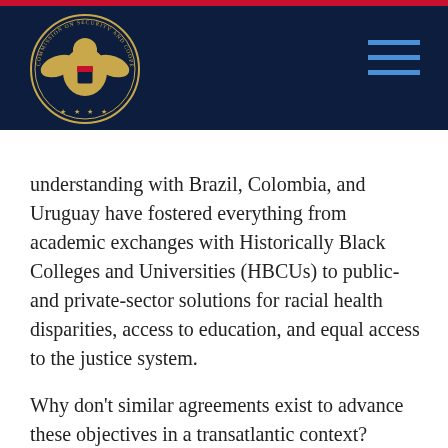Commission on Security and Cooperation in Europe (header with logo and navigation)
understanding with Brazil, Colombia, and Uruguay have fostered everything from academic exchanges with Historically Black Colleges and Universities (HBCUs) to public- and private-sector solutions for racial health disparities, access to education, and equal access to the justice system.
Why don’t similar agreements exist to advance these objectives in a transatlantic context? Members of Congress and parliamentarians in Europe have advocated for just that since the 2009 Black European Summit at the European Parliament and in subsequent transatlantic exchanges. A joint declaration last month from members of the European Parliament and the U.S. Congress emphasized the role of the recently established European Union (EU)